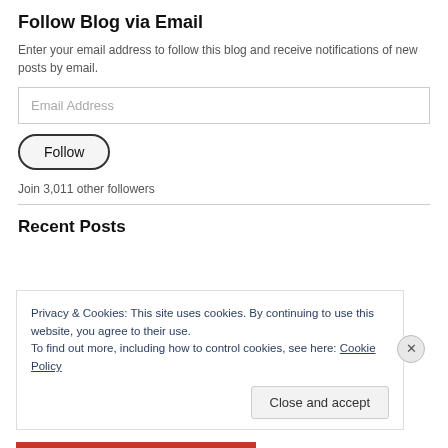Follow Blog via Email
Enter your email address to follow this blog and receive notifications of new posts by email.
Email Address
Follow
Join 3,011 other followers
Recent Posts
Privacy & Cookies: This site uses cookies. By continuing to use this website, you agree to their use.
To find out more, including how to control cookies, see here: Cookie Policy
Close and accept